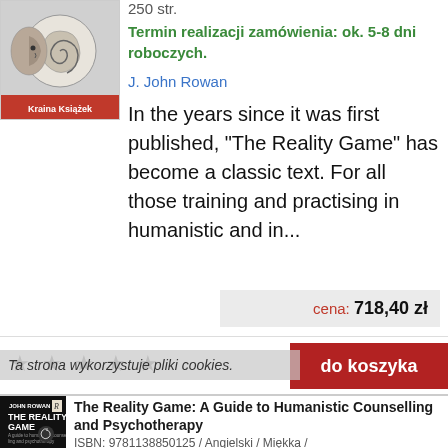[Figure (illustration): Book cover with spiral and face illustration, 'Kraina Książek' label at bottom]
250 str.
Termin realizacji zamówienia: ok. 5-8 dni roboczych.
J. John Rowan
In the years since it was first published, "The Reality Game" has become a classic text. For all those training and practising in humanistic and in...
cena: 718,40 zł
★ ★ ★ ★ ★
do koszyka
Ta strona wykorzystuje pliki cookies.
[Figure (illustration): Book cover of 'The Reality Game' by John Rowan, dark cover with white spiral design]
The Reality Game: A Guide to Humanistic Counselling and Psychotherapy
ISBN: 9781138850125 / Angielski / Miękka /
250 str.